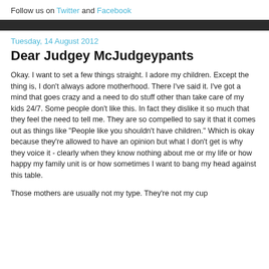Follow us on Twitter and Facebook
Tuesday, 14 August 2012
Dear Judgey McJudgeypants
Okay. I want to set a few things straight. I adore my children. Except the thing is, I don't always adore motherhood. There I've said it. I've got a mind that goes crazy and a need to do stuff other than take care of my kids 24/7. Some people don't like this. In fact they dislike it so much that they feel the need to tell me. They are so compelled to say it that it comes out as things like "People like you shouldn't have children." Which is okay because they're allowed to have an opinion but what I don't get is why they voice it - clearly when they know nothing about me or my life or how happy my family unit is or how sometimes I want to bang my head against this table.
Those mothers are usually not my type. They're not my cup